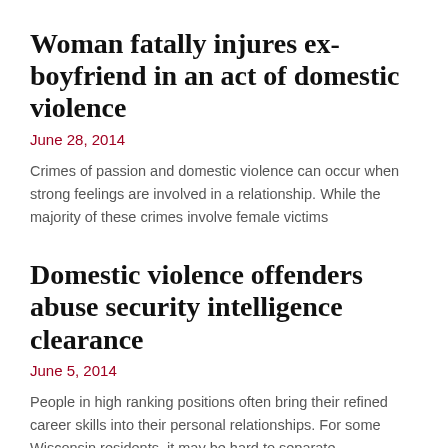Woman fatally injures ex-boyfriend in an act of domestic violence
June 28, 2014
Crimes of passion and domestic violence can occur when strong feelings are involved in a relationship. While the majority of these crimes involve female victims
Domestic violence offenders abuse security intelligence clearance
June 5, 2014
People in high ranking positions often bring their refined career skills into their personal relationships. For some Wisconsin residents, it may be hard to separate
1  2  3  4  5  6